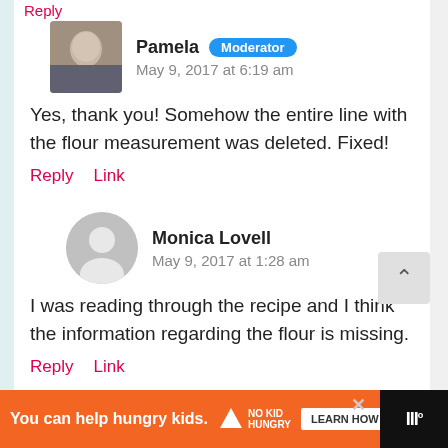Reply
Pamela  Moderator
May 9, 2017 at 6:19 am
Yes, thank you! Somehow the entire line with the flour measurement was deleted. Fixed!
Reply   Link
Monica Lovell
May 9, 2017 at 1:28 am
I was reading through the recipe and I think the information regarding the flour is missing.
Reply   Link
[Figure (infographic): Ad banner: orange background with 'You can help hungry kids.' text, No Kid Hungry logo, Learn How button, close button, and a dark right panel with WW logo]